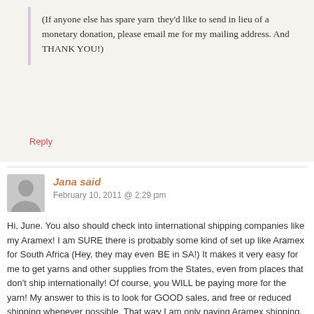(If anyone else has spare yarn they'd like to send in lieu of a monetary donation, please email me for my mailing address. And THANK YOU!)
Reply
Jana said
February 10, 2011 @ 2:29 pm
Hi, June. You also should check into international shipping companies like my Aramex! I am SURE there is probably some kind of set up like Aramex for South Africa (Hey, they may even BE in SA!) It makes it very easy for me to get yarns and other supplies from the States, even from places that don't ship internationally! Of course, you WILL be paying more for the yarn! My answer to this is to look for GOOD sales, and free or reduced shipping whenever possible. That way I am only paying Aramex shipping, not both. It's still more expensive. I your husbands new work going to be paying to ship your belongings there? If so, then DO go for building up that stash! I hate to see what it's going to cost ME when I leave HERE to go home! I certainly will NOT be leaving MY stash behind! LOL!
Reply